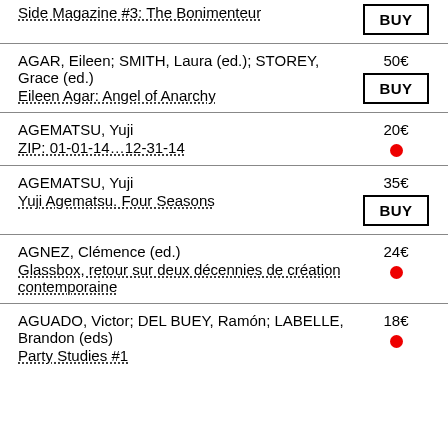Side Magazine #3: The Bonimenteur | BUY
AGAR, Eileen; SMITH, Laura (ed.); STOREY, Grace (ed.) | Eileen Agar: Angel of Anarchy | 50€ | BUY
AGEMATSU, Yuji | ZIP: 01-01-14…12-31-14 | 20€ | dot
AGEMATSU, Yuji | Yuji Agematsu. Four Seasons | 35€ | BUY
AGNEZ, Clémence (ed.) | Glassbox, retour sur deux décennies de création contemporaine | 24€ | dot
AGUADO, Victor; DEL BUEY, Ramón; LABELLE, Brandon (eds) | Party Studies #1 | 18€ | dot